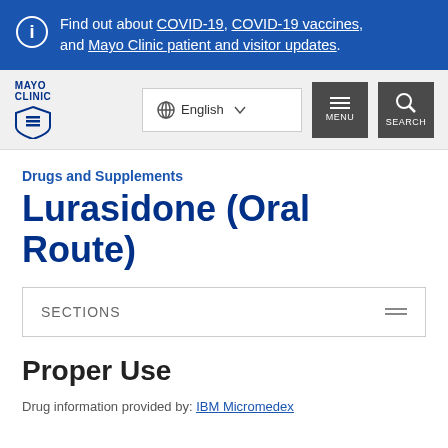Find out about COVID-19, COVID-19 vaccines, and Mayo Clinic patient and visitor updates.
[Figure (logo): Mayo Clinic logo with shield emblem]
Drugs and Supplements
Lurasidone (Oral Route)
SECTIONS
Proper Use
Drug information provided by: IBM Micromedex